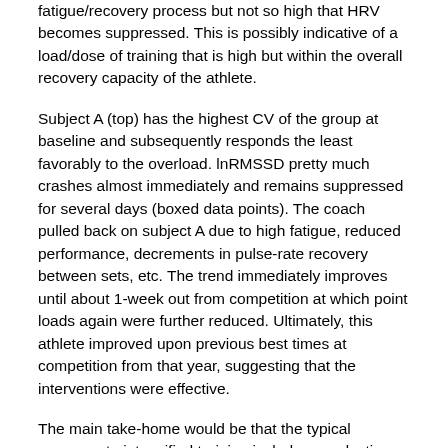fatigue/recovery process but not so high that HRV becomes suppressed. This is possibly indicative of a load/dose of training that is high but within the overall recovery capacity of the athlete.
Subject A (top) has the highest CV of the group at baseline and subsequently responds the least favorably to the overload. lnRMSSD pretty much crashes almost immediately and remains suppressed for several days (boxed data points). The coach pulled back on subject A due to high fatigue, reduced performance, decrements in pulse-rate recovery between sets, etc. The trend immediately improves until about 1-week out from competition at which point loads again were further reduced. Ultimately, this athlete improved upon previous best times at competition from that year, suggesting that the interventions were effective.
The main take-home would be that the typical response to intensified training includes a reduction and greater daily fluctuation in HRV, along with decrements in wellness scores. Athletes demonstrating different responses (i.e.,